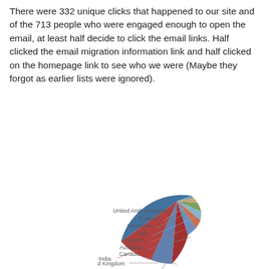There were 332 unique clicks that happened to our site and of the 713 people who were engaged enough to open the email, at least half decide to click the email links. Half clicked the email migration information link and half clicked on the homepage link to see who we were (Maybe they forgot as earlier lists were ignored).
[Figure (pie-chart): ]